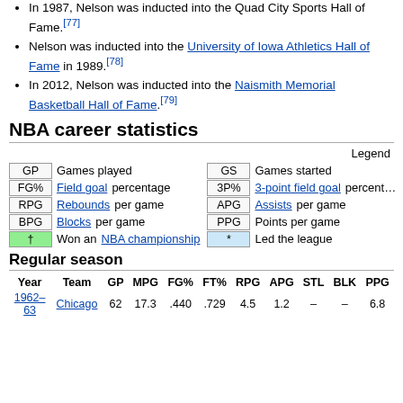In 1987, Nelson was inducted into the Quad City Sports Hall of Fame.[77]
Nelson was inducted into the University of Iowa Athletics Hall of Fame in 1989.[78]
In 2012, Nelson was inducted into the Naismith Memorial Basketball Hall of Fame.[79]
NBA career statistics
| Legend key | Description | Legend key | Description |
| --- | --- | --- | --- |
| GP | Games played | GS | Games started |
| FG% | Field goal percentage | 3P% | 3-point field goal percentage |
| RPG | Rebounds per game | APG | Assists per game |
| BPG | Blocks per game | PPG | Points per game |
| † | Won an NBA championship | * | Led the league |
Regular season
| Year | Team | GP | MPG | FG% | FT% | RPG | APG | STL | BLK | PPG |
| --- | --- | --- | --- | --- | --- | --- | --- | --- | --- | --- |
| 1962–63 | Chicago | 62 | 17.3 | .440 | .729 | 4.5 | 1.2 | – | – | 6.8 |